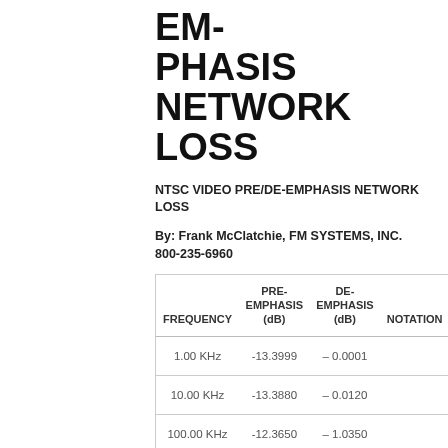EMPHASIS NETWORK LOSS
NTSC VIDEO PRE/DE-EMPHASIS NETWORK LOSS
By: Frank McClatchie, FM SYSTEMS, INC. 800-235-6960
| FREQUENCY | PRE-EMPHASIS (dB) | DE-EMPHASIS (dB) | NOTATION |
| --- | --- | --- | --- |
| 1.00 KHz | -13.3999 | – 0.0001 |  |
| 10.00 KHz | -13.3880 | – 0.0120 |  |
| 100.00 KHz | -12.3650 | – 1.0350 |  |